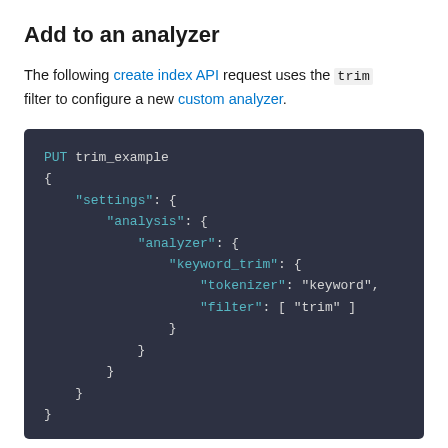Add to an analyzer
The following create index API request uses the trim filter to configure a new custom analyzer.
[Figure (screenshot): Code block showing a PUT request for trim_example with JSON settings for a custom analyzer named keyword_trim using tokenizer: keyword and filter: [ trim ]]